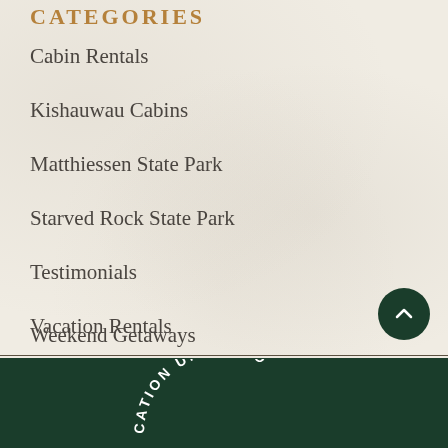CATEGORIES
Cabin Rentals
Kishauwau Cabins
Matthiessen State Park
Starved Rock State Park
Testimonials
Vacation Rentals
Weekend Getaways
[Figure (logo): Circular dark green scroll-to-top button with a white upward chevron arrow]
CATION UNPLUGO (partial arc text, vacation unplugged logo in dark green footer)